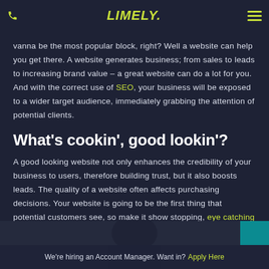Limely. [logo] [hamburger menu]
vanna be the most popular block, right? Well a website can help you get there. A website generates business; from sales to leads to increasing brand value – a great website can do a lot for you. And with the correct use of SEO, your business will be exposed to a wider target audience, immediately grabbing the attention of potential clients.
What's cookin', good lookin'?
A good looking website not only enhances the credibility of your business to users, therefore building trust, but it also boosts leads. The quality of a website often affects purchasing decisions. Your website is going to be the first thing that potential customers see, so make it show stopping, eye catching and all around sexy.
[Figure (photo): Partial photo of a person's face at the bottom of the page]
We're hiring an Account Manager. Want in? Apply Here